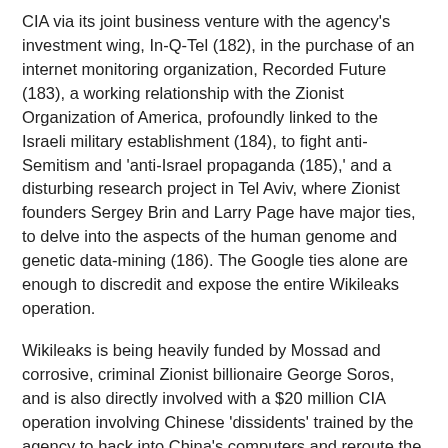CIA via its joint business venture with the agency's investment wing, In-Q-Tel (182), in the purchase of an internet monitoring organization, Recorded Future (183), a working relationship with the Zionist Organization of America, profoundly linked to the Israeli military establishment (184), to fight anti-Semitism and 'anti-Israel propaganda (185),' and a disturbing research project in Tel Aviv, where Zionist founders Sergey Brin and Larry Page have major ties, to delve into the aspects of the human genome and genetic data-mining (186). The Google ties alone are enough to discredit and expose the entire Wikileaks operation.
Wikileaks is being heavily funded by Mossad and corrosive, criminal Zionist billionaire George Soros, and is also directly involved with a $20 million CIA operation involving Chinese 'dissidents' trained by the agency to hack into China's computers and reroute the implanted viruses to American government computer systems, all for the purpose of increasing the cyber defense budget (187), a plan that began when dual-citizen of Israel and Mossad operative Amit Yoran was elected Cyber Security Czar by war criminal George W. Bush in 2003 (188). Amit Yoran and his family were a key